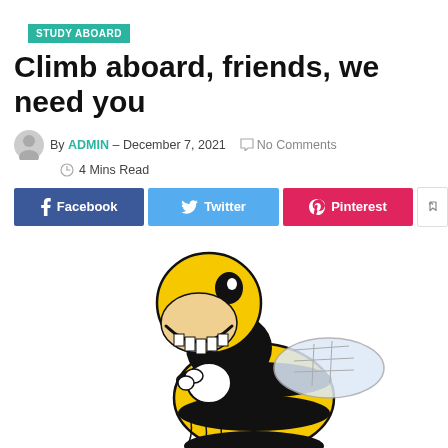STUDY ABOARD
Climb aboard, friends, we need you
By ADMIN — December 7, 2021  No Comments  4 Mins Read
Facebook  Twitter  Pinterest
[Figure (illustration): Cartoon bee mascot character smiling broadly, black and yellow coloring with white gloves, honeycomb wing pattern visible]